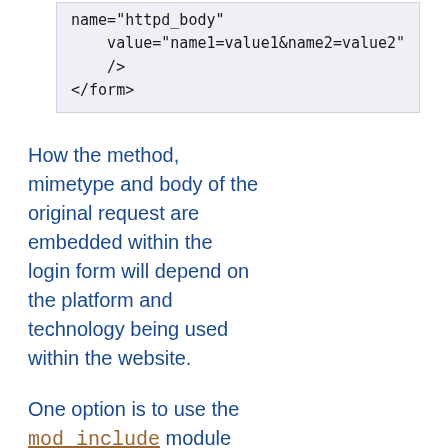[Figure (screenshot): Code block showing HTML form snippet: name="httpd_body" value="name1=value1&name2=value2" /> </form>]
How the method, mimetype and body of the original request are embedded within the login form will depend on the platform and technology being used within the website.
One option is to use the mod_include module along with the KeptBodySize directive, along with a suitable CGI script to embed the variables in the form.
Another option is to render the login form using a CGI script or other dynamic